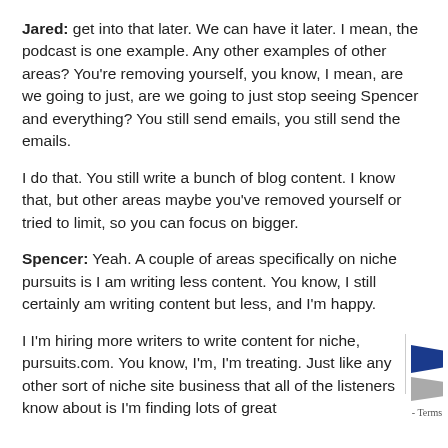Jared: get into that later. We can have it later. I mean, the podcast is one example. Any other examples of other areas? You're removing yourself, you know, I mean, are we going to just, are we going to just stop seeing Spencer and everything? You still send emails, you still send the emails.
I do that. You still write a bunch of blog content. I know that, but other areas maybe you've removed yourself or tried to limit, so you can focus on bigger.
Spencer: Yeah. A couple of areas specifically on niche pursuits is I am writing less content. You know, I still certainly am writing content but less, and I'm happy.
I I'm hiring more writers to write content for niche, pursuits.com. You know, I'm, I'm treating. Just like any other sort of niche site business that all of the listeners know about is I'm finding lots of great